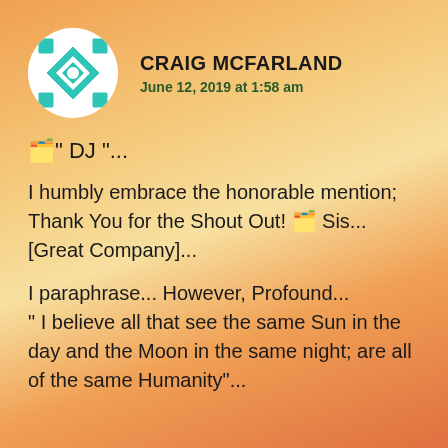[Figure (illustration): Circular avatar with teal/turquoise geometric diamond pattern on white background]
CRAIG MCFARLAND
June 12, 2019 at 1:58 am
🗂️" DJ "...
I humbly embrace the honorable mention; Thank You for the Shout Out! 🗂️ Sis... [Great Company]...
I paraphrase... However, Profound... " I believe all that see the same Sun in the day and the Moon in the same night; are all of the same Humanity"...